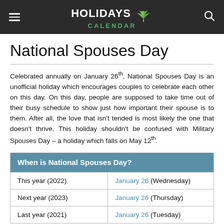HOLIDAYS CALENDAR
National Spouses Day
Celebrated annually on January 26th, National Spouses Day is an unofficial holiday which encourages couples to celebrate each other on this day. On this day, people are supposed to take time out of their busy schedule to show just how important their spouse is to them. After all, the love that isn't tended is most likely the one that doesn't thrive. This holiday shouldn't be confused with Military Spouses Day – a holiday which falls on May 12th.
| When is National Spouses Day? |  |
| --- | --- |
| This year (2022) | January 26 (Wednesday) |
| Next year (2023) | January 26 (Thursday) |
| Last year (2021) | January 26 (Tuesday) |